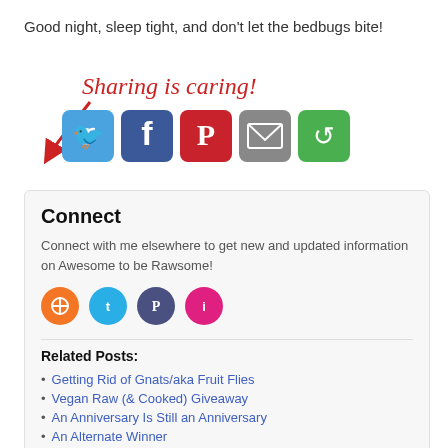Good night, sleep tight, and don't let the bedbugs bite!
[Figure (infographic): Sharing is caring! graphic with cursive red text and a curved red arrow pointing to social media sharing buttons: Twitter (blue), Facebook (dark blue), Pinterest (red), Email (grey), Share (green)]
Connect
Connect with me elsewhere to get new and updated information on Awesome to be Rawsome!
[Figure (infographic): Four social media circle icon buttons: orange (RSS), cyan (Twitter), purple (Pinterest), pink (Instagram/other)]
Related Posts:
Getting Rid of Gnats/aka Fruit Flies
Vegan Raw (& Cooked) Giveaway
An Anniversary Is Still an Anniversary
An Alternate Winner
April 2011 Giveaway: We Have a Winner!